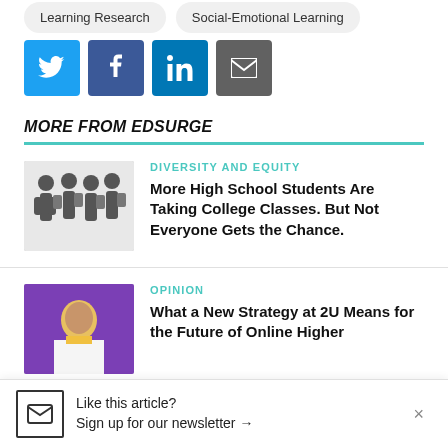Learning Research
Social-Emotional Learning
[Figure (infographic): Social sharing icons: Twitter (blue), Facebook (dark blue), LinkedIn (blue), Email (grey)]
MORE FROM EDSURGE
[Figure (illustration): Black and white illustration of high school students with backpacks walking away]
DIVERSITY AND EQUITY
More High School Students Are Taking College Classes. But Not Everyone Gets the Chance.
[Figure (photo): Photo of a man in a yellow shirt speaking at an event with purple background]
OPINION
What a New Strategy at 2U Means for the Future of Online Higher
Like this article?
Sign up for our newsletter →